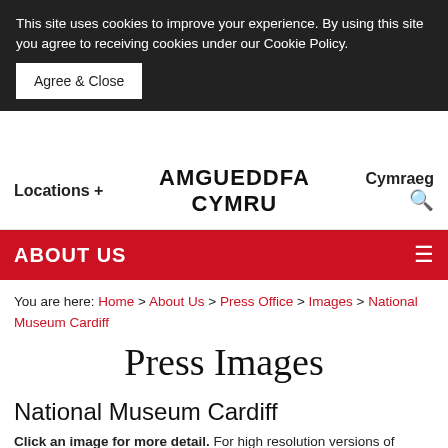This site uses cookies to improve your experience. By using this site you agree to receiving cookies under our Cookie Policy.
Agree & Close
Locations +   AMGUEDDFA CYMRU   Cymraeg
ABOUT US
You are here: Home > About Us > Press Office > Images > National Museum Cardiff
Press Images
National Museum Cardiff
Click an image for more detail. For high resolution versions of